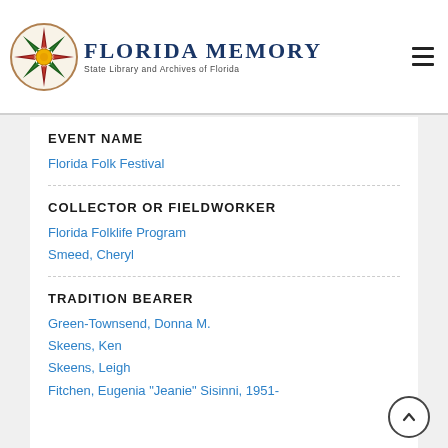Florida Memory — State Library and Archives of Florida
EVENT NAME
Florida Folk Festival
COLLECTOR OR FIELDWORKER
Florida Folklife Program
Smeed, Cheryl
TRADITION BEARER
Green-Townsend, Donna M.
Skeens, Ken
Skeens, Leigh
Fitchen, Eugenia "Jeanie" Sisinni, 1951-